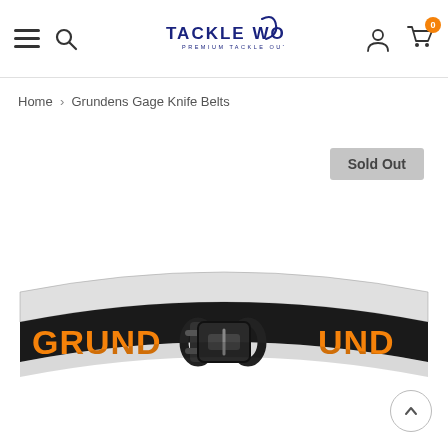Tackle World Premium Tackle Outlet — navigation header with hamburger menu, search, logo, account, and cart (0)
Home > Grundens Gage Knife Belts
Sold Out
[Figure (photo): A black belt with orange GRUNDENS text printed on it and a black plastic buckle clasp in the center. The belt is photographed against a white background.]